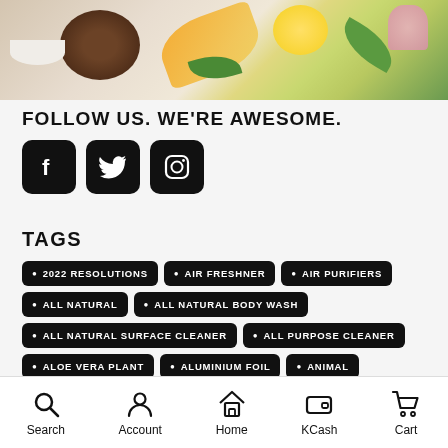[Figure (photo): Product photo showing coconut, orange peel, lemon, and green leaves on a light background]
FOLLOW US. WE'RE AWESOME.
[Figure (infographic): Three social media icons: Facebook, Twitter, Instagram — white icons on black rounded square buttons]
TAGS
2022 RESOLUTIONS
AIR FRESHNER
AIR PURIFIERS
ALL NATURAL
ALL NATURAL BODY WASH
ALL NATURAL SURFACE CLEANER
ALL PURPOSE CLEANER
ALOE VERA PLANT
ALUMINIUM FOIL
ANIMAL
ANIMAL LOVE
ANTIBACTERIAL
ANTISEPTIC
APPLIANCES
AROMA
ASIATIC LION
ASTHMA
Search  Account  Home  KCash  Cart